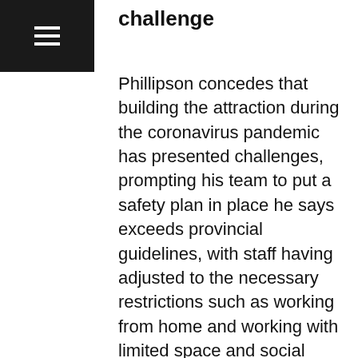challenge
Phillipson concedes that building the attraction during the coronavirus pandemic has presented challenges, prompting his team to put a safety plan in place he says exceeds provincial guidelines, with staff having adjusted to the necessary restrictions such as working from home and working with limited space and social distancing.
"Our biggest challenge will be to help our guests feel safe and comfortable," he says. "When we open, our team of guides and makers will be ready to make our guests feel at home in Little Canada. Our team is